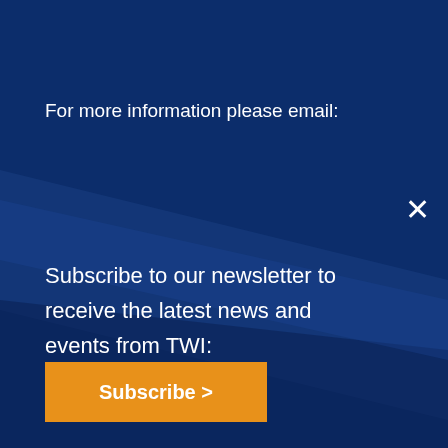For more information please email:
Subscribe to our newsletter to receive the latest news and events from TWI:
Subscribe >